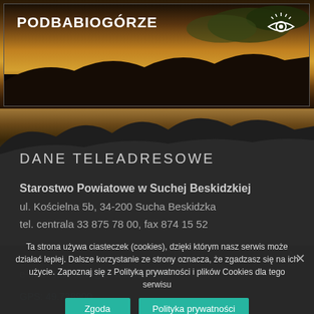[Figure (photo): Landscape photo with text PODBABIOGÓRZE and an eye icon, showing mountains and warm sunset tones]
DANE TELEADRESOWE
Starostwo Powiatowe w Suchej Beskidzkiej
ul. Kościelna 5b, 34-200 Sucha Beskidzka
tel. centrala 33 875 78 00, fax 874 15 52
e-mail: starostwo@powiatsuski.pl
GPS: 49.738900...
Ta strona używa ciasteczek (cookies), dzięki którym nasz serwis może działać lepiej. Dalsze korzystanie ze strony oznacza, że zgadzasz się na ich użycie. Zapoznaj się z Polityką prywatności i plików Cookies dla tego serwisu
Zgoda
Polityka prywatności